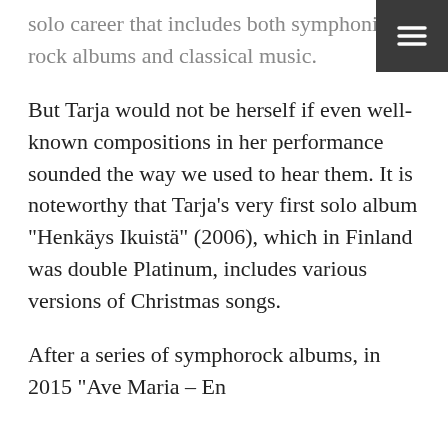solo career that includes both symphonic rock albums and classical music.
But Tarja would not be herself if even well-known compositions in her performance sounded the way we used to hear them. It is noteworthy that Tarja’s very first solo album “Henkäys Ikuisistä” (2006), which in Finland was double Platinum, includes various versions of Christmas songs.
After a series of symphorock albums, in 2015 “Ave Maria – En